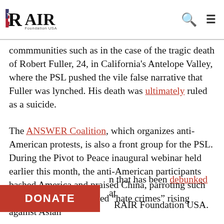RAIR Foundation USA
communities such as in the case of the tragic death of Robert Fuller, 24, in California's Antelope Valley, where the PSL pushed the vile false narrative that Fuller was lynched. His death was ultimately ruled as a suicide.
The ANSWER Coalition, which organizes anti-American protests, is also a front group for the PSL. During the Pivot to Peace inaugural webinar held earlier this month, the anti-American participants bashed America and praised China, parroting such propaganda like so-called “hate crimes” rising against Asian [community], a claim that has been debunked at RAIR Foundation USA.
[Figure (other): Red DONATE button overlay at bottom left]